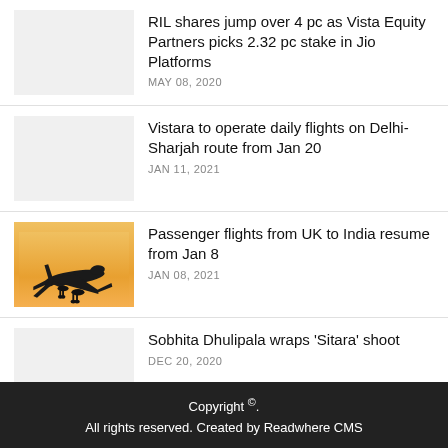RIL shares jump over 4 pc as Vista Equity Partners picks 2.32 pc stake in Jio Platforms — MAY 08, 2020
Vistara to operate daily flights on Delhi-Sharjah route from Jan 20 — JAN 11, 2021
Passenger flights from UK to India resume from Jan 8 — JAN 08, 2021
Sobhita Dhulipala wraps 'Sitara' shoot — DEC 20, 2020
Copyright ©. All rights reserved. Created by Readwhere CMS